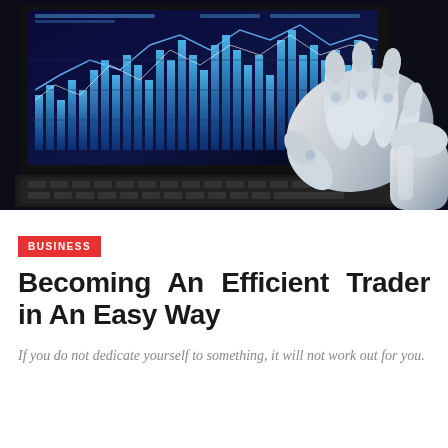[Figure (photo): A robotic hand with white metallic fingers typing on a laptop keyboard. The laptop screen displays blue financial trading charts with bar graphs and line charts on a dark background.]
BUSINESS
Becoming An Efficient Trader in An Easy Way
If you do not dedicate yourself to something, it will not work out for you.